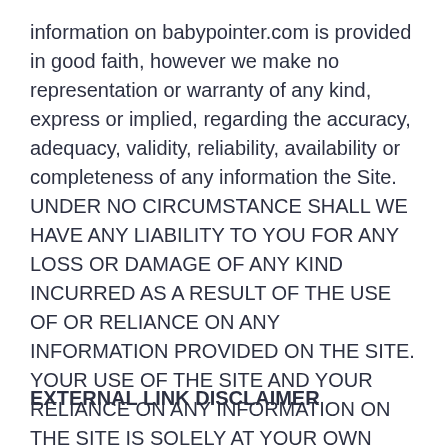information on babypointer.com is provided in good faith, however we make no representation or warranty of any kind, express or implied, regarding the accuracy, adequacy, validity, reliability, availability or completeness of any information the Site. UNDER NO CIRCUMSTANCE SHALL WE HAVE ANY LIABILITY TO YOU FOR ANY LOSS OR DAMAGE OF ANY KIND INCURRED AS A RESULT OF THE USE OF OR RELIANCE ON ANY INFORMATION PROVIDED ON THE SITE. YOUR USE OF THE SITE AND YOUR RELIANCE ON ANY INFORMATION ON THE SITE IS SOLELY AT YOUR OWN RISK.
EXTERNAL LINK DISCLAIMER